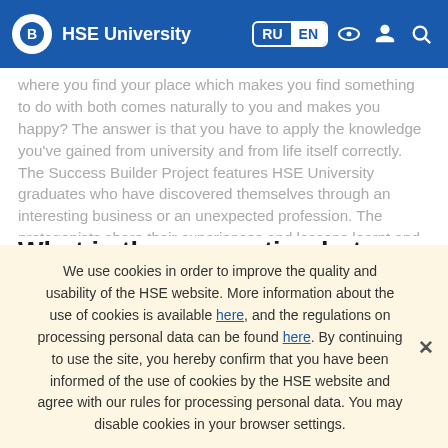HSE University
...where you find your place which makes you find something to do with both comes naturally to you and makes you happy? The answer is that you have to apply the knowledge you've gained from university and from life itself correctly. The Success Builder Project features HSE University graduates who have discovered themselves through an interesting business or an unexpected profession. The protagonists share their experiences and lessons learnt and talk about how they've made the most of the opportunities they were given.
What is the connection between the cockroaches in our homes and the ones in our head? According to
We use cookies in order to improve the quality and usability of the HSE website. More information about the use of cookies is available here, and the regulations on processing personal data can be found here. By continuing to use the site, you hereby confirm that you have been informed of the use of cookies by the HSE website and agree with our rules for processing personal data. You may disable cookies in your browser settings.